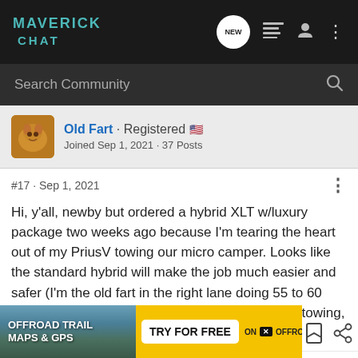MAVERICK CHAT
Search Community
Old Fart · Registered 🇺🇸
Joined Sep 1, 2021 · 37 Posts
#17 · Sep 1, 2021
Hi, y'all, newby but ordered a hybrid XLT w/luxury package two weeks ago because I'm tearing the heart out of my PriusV towing our micro camper. Looks like the standard hybrid will make the job much easier and safer (I'm the old fart in the right lane doing 55 to 60 mph now) The V has been getting 23 to 28 mpg towing, 44 mpg average ish.
Chris McD
[Figure (screenshot): Advertisement banner: OFFROAD TRAIL MAPS & GPS — TRY FOR FREE — ON X OFFROAD]